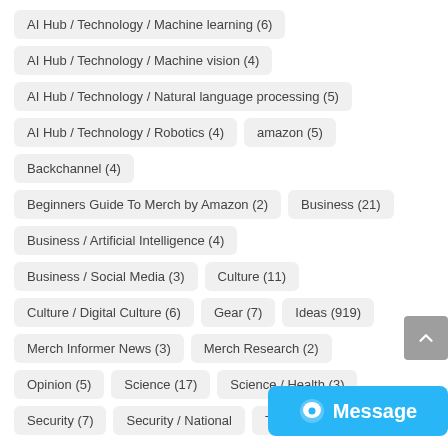AI Hub / Technology / Machine learning (6)
AI Hub / Technology / Machine vision (4)
AI Hub / Technology / Natural language processing (5)
AI Hub / Technology / Robotics (4)
amazon (5)
Backchannel (4)
Beginners Guide To Merch by Amazon (2)
Business (21)
Business / Artificial Intelligence (4)
Business / Social Media (3)
Culture (11)
Culture / Digital Culture (6)
Gear (7)
Ideas (919)
Merch Informer News (3)
Merch Research (2)
Opinion (5)
Science (17)
Science / Health (3)
Security (7)
Security / National
Transportation (4)